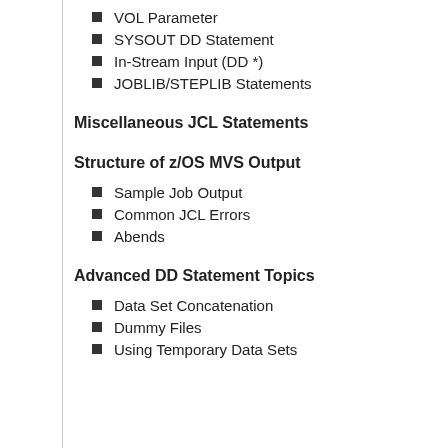VOL Parameter
SYSOUT DD Statement
In-Stream Input (DD *)
JOBLIB/STEPLIB Statements
Miscellaneous JCL Statements
Structure of z/OS MVS Output
Sample Job Output
Common JCL Errors
Abends
Advanced DD Statement Topics
Data Set Concatenation
Dummy Files
Using Temporary Data Sets